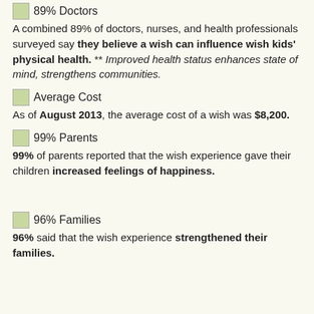89% Doctors — A combined 89% of doctors, nurses, and health professionals surveyed say they believe a wish can influence wish kids' physical health. ** Improved health status enhances state of mind, strengthens communities.
Average Cost — As of August 2013, the average cost of a wish was $8,200.
99% Parents — 99% of parents reported that the wish experience gave their children increased feelings of happiness.
96% Families — 96% said that the wish experience strengthened their families.